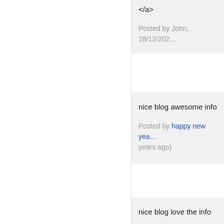</a>
Posted by John, 28/12/20...
nice blog awesome info
Posted by happy new yea... years ago)
nice blog love the info
Posted by Merry Christma... years ago)
Nice . Keep doing.
Posted by thewhatsappsta...